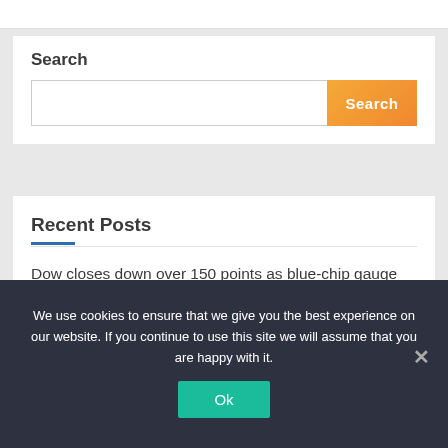Search
[Figure (screenshot): Search input box with orange gradient Search button]
Recent Posts
Dow closes down over 150 points as blue-chip gauge posts longest losing streak in a month
We use cookies to ensure that we give you the best experience on our website. If you continue to use this site we will assume that you are happy with it.